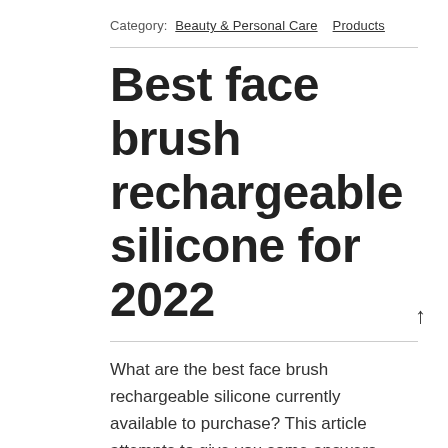Category:  Beauty & Personal Care   Products
Best face brush rechargeable silicone for 2022
What are the best face brush rechargeable silicone currently available to purchase? This article attempts to give you some answers to guide you in the process of purchasing the best face brush rechargeable silicone to suit your needs. In our buying guide, we outline certain features to consider when buying face brush rechargeable silicone. It is important to take time